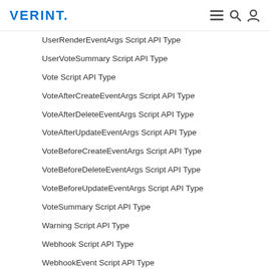VERINT.
UserRenderEventArgs Script API Type
UserVoteSummary Script API Type
Vote Script API Type
VoteAfterCreateEventArgs Script API Type
VoteAfterDeleteEventArgs Script API Type
VoteAfterUpdateEventArgs Script API Type
VoteBeforeCreateEventArgs Script API Type
VoteBeforeDeleteEventArgs Script API Type
VoteBeforeUpdateEventArgs Script API Type
VoteSummary Script API Type
Warning Script API Type
Webhook Script API Type
WebhookEvent Script API Type
Weblog Script API Type
WeblogPost Script API Type
Wiki Script API Type
WikiAfterCreateEventArgs Script API Type